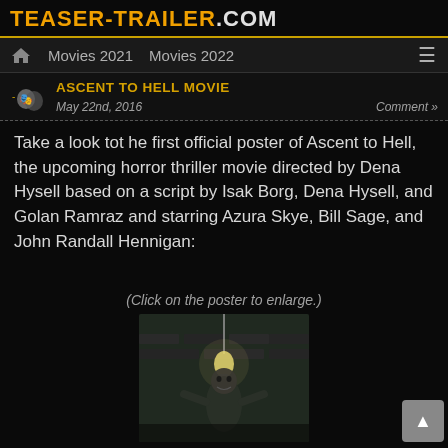TEASER-TRAILER.COM
Movies 2021   Movies 2022
ASCENT TO HELL MOVIE
May 22nd, 2016
Comment »
Take a look tot he first official poster of Ascent to Hell, the upcoming horror thriller movie directed by Dena Hysell based on a script by Isak Borg, Dena Hysell, and Golan Ramraz and starring Azura Skye, Bill Sage, and John Randall Hennigan:
(Click on the poster to enlarge.)
[Figure (photo): Dark horror movie poster showing a zombie-like creature near a hanging light bulb in a dark brick room]